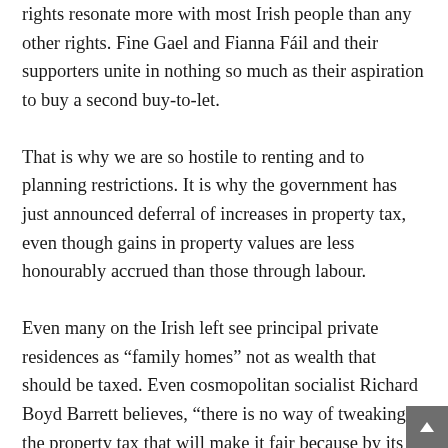rights resonate more with most Irish people than any other rights. Fine Gael and Fianna Fáil and their supporters unite in nothing so much as their aspiration to buy a second buy-to-let.
That is why we are so hostile to renting and to planning restrictions. It is why the government has just announced deferral of increases in property tax, even though gains in property values are less honourably accrued than those through labour.
Even many on the Irish left see principal private residences as “family homes” not as wealth that should be taxed. Even cosmopolitan socialist Richard Boyd Barrett believes, “there is no way of tweaking the property tax that will make it fair because by its